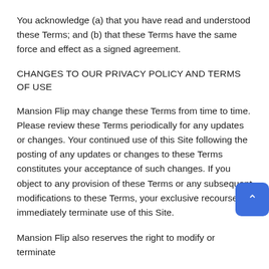You acknowledge (a) that you have read and understood these Terms; and (b) that these Terms have the same force and effect as a signed agreement.
CHANGES TO OUR PRIVACY POLICY AND TERMS OF USE
Mansion Flip may change these Terms from time to time. Please review these Terms periodically for any updates or changes. Your continued use of this Site following the posting of any updates or changes to these Terms constitutes your acceptance of such changes. If you object to any provision of these Terms or any subsequent modifications to these Terms, your exclusive recourse immediately terminate use of this Site.
Mansion Flip also reserves the right to modify or terminate